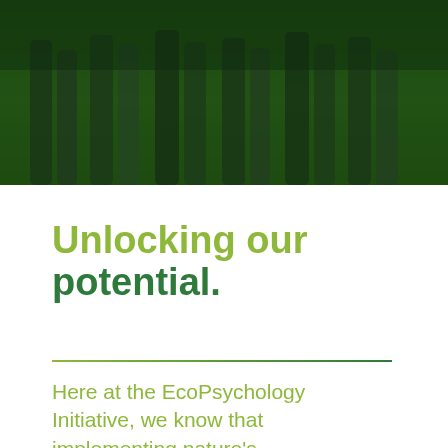[Figure (photo): Group of people standing on grass, viewed from the waist down, with a dark green tinted overlay]
Unlocking our potential.
Here at the EcoPsychology Initiative, we know that implementing nature's